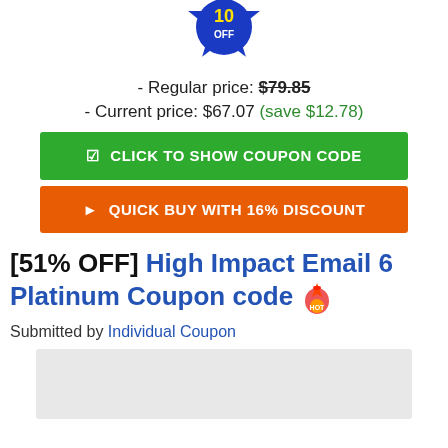[Figure (illustration): Blue starburst badge partially visible at top showing '10 OFF' or similar discount badge]
- Regular price: $79.85
- Current price: $67.07 (save $12.78)
[Figure (other): Green button: CLICK TO SHOW COUPON CODE]
[Figure (other): Orange button: QUICK BUY WITH 16% DISCOUNT]
[51% OFF] High Impact Email 6 Platinum Coupon code 🔥
Submitted by Individual Coupon
[Figure (screenshot): Partially visible image placeholder at bottom]